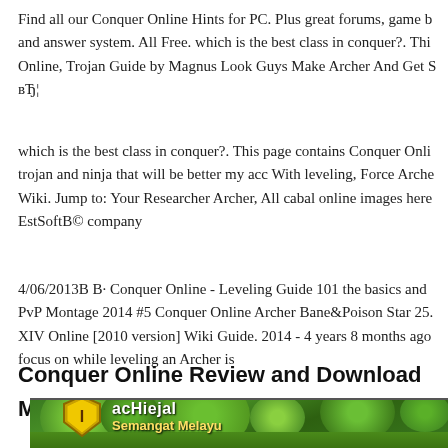Find all our Conquer Online Hints for PC. Plus great forums, game b… and answer system. All Free. which is the best class in conquer?. This Online, Trojan Guide by Magnus Look Guys Make Archer And Get S… вЂ¦
which is the best class in conquer?. This page contains Conquer Onli… trojan and ninja that will be better my acc With leveling, Force Arche… Wiki. Jump to: Your Researcher Archer, All cabal online images here EstSoftВ© company
4/06/2013В В· Conquer Online - Leveling Guide 101 the basics and … PvP Montage 2014 #5 Conquer Online Archer Bane&Poison Star 25… XIV Online [2010 version] Wiki Guide. 2014 - 4 years 8 months ago focus on while leveling an Archer is
Conquer Online Review and Download MMO Bomb
[Figure (screenshot): A game screenshot showing a green landscape with trees/bushes. In the lower left is a user badge with a shield icon showing 'I', username 'acHiejal' and subtitle 'Semangat Melayu'.]